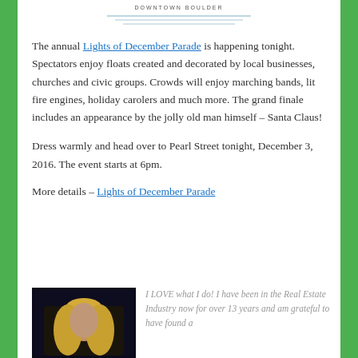[Figure (logo): Downtown Boulder logo with horizontal lines beneath text]
The annual Lights of December Parade is happening tonight. Spectators enjoy floats created and decorated by local businesses, churches and civic groups. Crowds will enjoy marching bands, lit fire engines, holiday carolers and much more. The grand finale includes an appearance by the jolly old man himself – Santa Claus!
Dress warmly and head over to Pearl Street tonight, December 3, 2016. The event starts at 6pm.
More details – Lights of December Parade
[Figure (photo): Portrait photo of a woman with blonde hair against a dark blue/black background]
I LOVE what I do! I have been in the Real Estate Industry now for over 13 years and am grateful to have found a